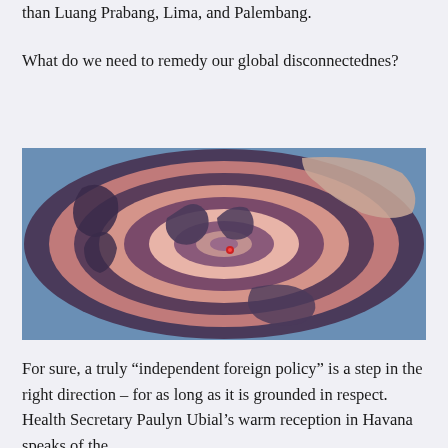than Luang Prabang, Lima, and Palembang.
What do we need to remedy our global disconnectednes?
[Figure (map): A stylized world map centered on Southeast Asia showing concentric heart-shaped rings/contours radiating outward in shades of pink, rose, mauve, and dark blue-purple, with a small red marker near Indonesia/Philippines. The map has a warm vintage color palette.]
For sure, a truly “independent foreign policy” is a step in the right direction – for as long as it is grounded in respect. Health Secretary Paulyn Ubial’s warm reception in Havana speaks of the